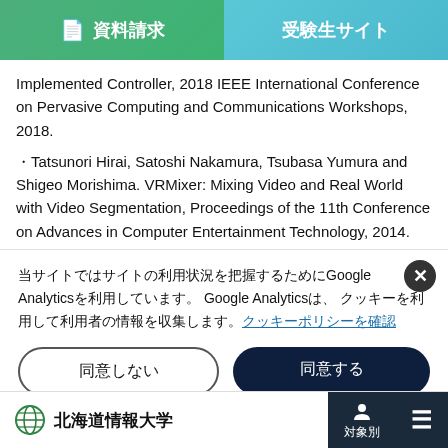資料請求　受験生サイト
Implemented Controller, 2018 IEEE International Conference on Pervasive Computing and Communications Workshops, 2018.
・Tatsunori Hirai, Satoshi Nakamura, Tsubasa Yumura and Shigeo Morishima. VRMixer: Mixing Video and Real World with Video Segmentation, Proceedings of the 11th Conference on Advances in Computer Entertainment Technology, 2014.
当サイトではサイトの利用状況を把握するためにGoogle Analyticsを利用しています。 Google Analyticsは、 クッキーを利用して利用者の情報を収集します。クッキーポリシーを確認
同意しない
同意する
北海道情報大学　対象別